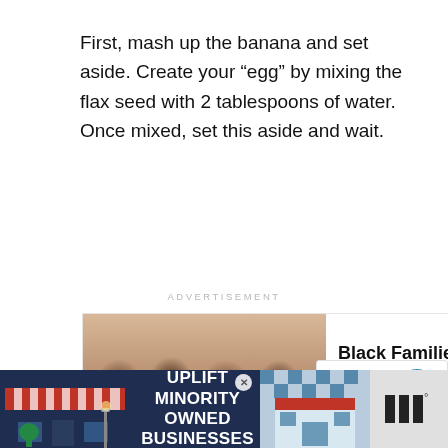First, mash up the banana and set aside. Create your “egg” by mixing the flax seed with 2 tablespoons of water. Once mixed, set this aside and wait.
ADVERTISEMENT
[Figure (photo): Advertisement showing group of smiling people with text 'Black Families Matter' and a close button]
[Figure (screenshot): Sidebar UI with heart/like button showing count 6, share button, Privacy/Terms links, and 'What's Next' recommendation card 'A Guide for Families...']
[Figure (photo): Bottom banner advertisement: 'Uplift Minority Owned Businesses' on dark blue background with storefront imagery and close button; right side shows a weather/news app logo]